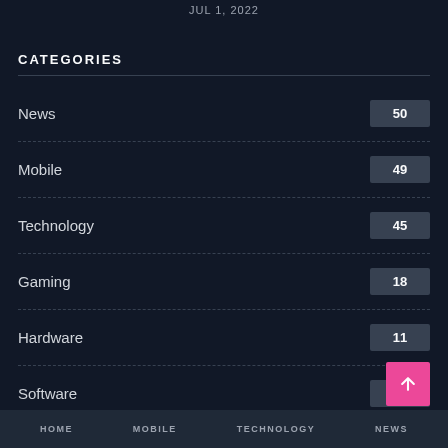JUL 1, 2022
CATEGORIES
News 50
Mobile 49
Technology 45
Gaming 18
Hardware 11
Software 6
HOME   MOBILE   TECHNOLOGY   NEWS